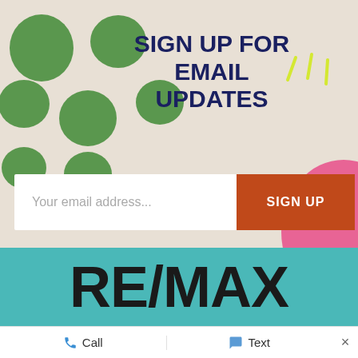[Figure (illustration): Decorative beige background with green blob shapes on the left side and yellow accent lines on the upper right, plus a pink circular shape on the lower right]
SIGN UP FOR EMAIL UPDATES
Your email address...
SIGN UP
[Figure (logo): RE/MAX logo in large bold black text on teal background]
Call   Text   ×